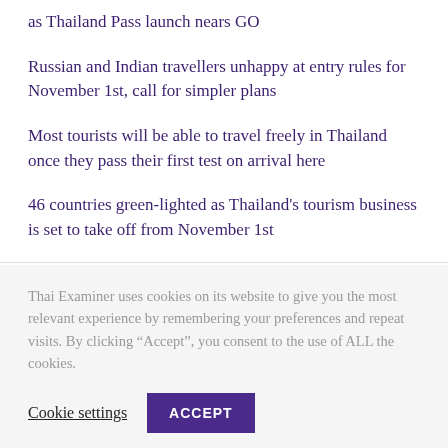as Thailand Pass launch nears GO
Russian and Indian travellers unhappy at entry rules for November 1st, call for simpler plans
Most tourists will be able to travel freely in Thailand once they pass their first test on arrival here
46 countries green-lighted as Thailand's tourism business is set to take off from November 1st
Bright lights may be turned on again for foreign tourism as hated Certificate of Entry is to be axed
Thai Examiner uses cookies on its website to give you the most relevant experience by remembering your preferences and repeat visits. By clicking “Accept”, you consent to the use of ALL the cookies.
Cookie settings   ACCEPT